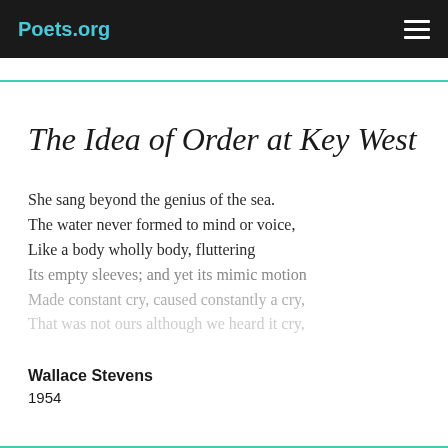Poets.org
The Idea of Order at Key West
She sang beyond the genius of the sea.
The water never formed to mind or voice,
Like a body wholly body, fluttering
Its empty sleeves; and yet its mimic motion
Made constant cry, caused constantly a cry,
That was not ours although we heard it cry,
Wallace Stevens
1954